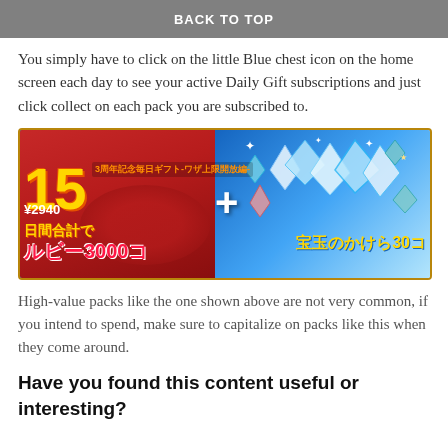BACK TO TOP
You simply have to click on the little Blue chest icon on the home screen each day to see your active Daily Gift subscriptions and just click collect on each pack you are subscribed to.
[Figure (screenshot): Game advertisement banner showing '15日間合計で ¥2940 ルビー3000コ + 宝玉のかけら30コ' with '3周年記念毎日ギフト-ワザ上限開放編-' subtitle. Left side shows rubies on red background, right side shows crystals on blue background.]
High-value packs like the one shown above are not very common, if you intend to spend, make sure to capitalize on packs like this when they come around.
Have you found this content useful or interesting?